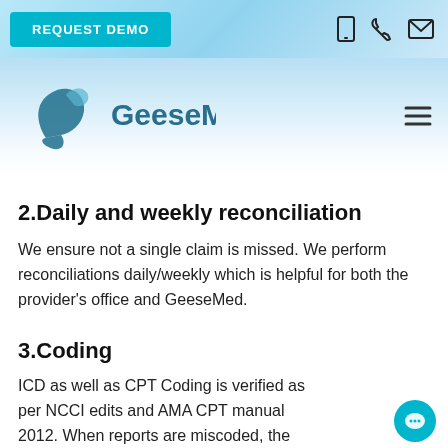REQUEST DEMO
[Figure (logo): GeeseMed logo with stylized goose icon and company name in teal/dark blue]
2.Daily and weekly reconciliation
We ensure not a single claim is missed. We perform reconciliations daily/weekly which is helpful for both the provider's office and GeeseMed.
3.Coding
ICD as well as CPT Coding is verified as per NCCI edits and AMA CPT manual 2012. When reports are miscoded, the Provider is given feedback to improve